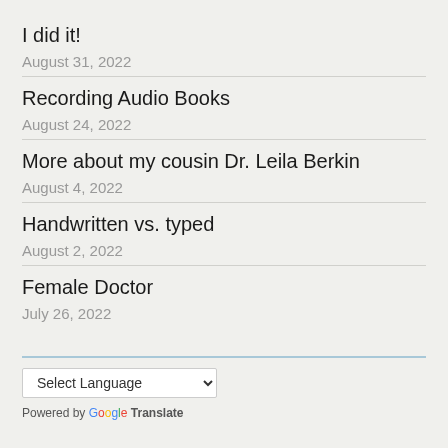I did it!
August 31, 2022
Recording Audio Books
August 24, 2022
More about my cousin Dr. Leila Berkin
August 4, 2022
Handwritten vs. typed
August 2, 2022
Female Doctor
July 26, 2022
Select Language — Powered by Google Translate